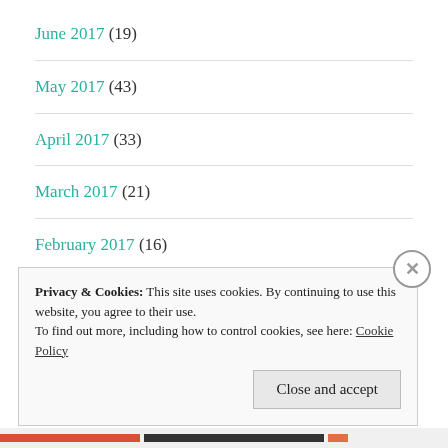June 2017 (19)
May 2017 (43)
April 2017 (33)
March 2017 (21)
February 2017 (16)
January 2017 (16)
Privacy & Cookies: This site uses cookies. By continuing to use this website, you agree to their use. To find out more, including how to control cookies, see here: Cookie Policy